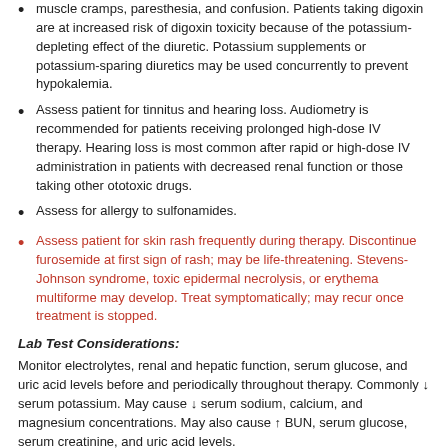muscle cramps, paresthesia, and confusion. Patients taking digoxin are at increased risk of digoxin toxicity because of the potassium-depleting effect of the diuretic. Potassium supplements or potassium-sparing diuretics may be used concurrently to prevent hypokalemia.
Assess patient for tinnitus and hearing loss. Audiometry is recommended for patients receiving prolonged high-dose IV therapy. Hearing loss is most common after rapid or high-dose IV administration in patients with decreased renal function or those taking other ototoxic drugs.
Assess for allergy to sulfonamides.
Assess patient for skin rash frequently during therapy. Discontinue furosemide at first sign of rash; may be life-threatening. Stevens-Johnson syndrome, toxic epidermal necrolysis, or erythema multiforme may develop. Treat symptomatically; may recur once treatment is stopped.
Lab Test Considerations:
Monitor electrolytes, renal and hepatic function, serum glucose, and uric acid levels before and periodically throughout therapy. Commonly ↓ serum potassium. May cause ↓ serum sodium, calcium, and magnesium concentrations. May also cause ↑ BUN, serum glucose, serum creatinine, and uric acid levels.
Potential Diagnoses
Excess fluid volume (Indications)
Deficient fluid volume (Side Effects)